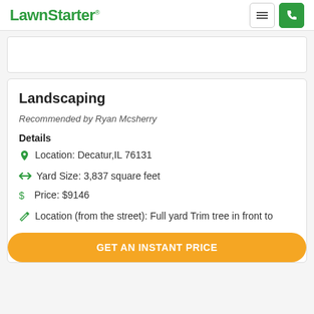LawnStarter
Landscaping
Recommended by Ryan Mcsherry
Details
Location: Decatur,IL 76131
Yard Size: 3,837 square feet
Price: $9146
Location (from the street): Full yard Trim tree in front to
GET AN INSTANT PRICE